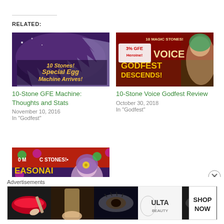RELATED:
[Figure (illustration): 10-Stone GFE Machine game promotional banner with dragon and text '10 Stones! Special Egg Machine Arrives!']
10-Stone GFE Machine: Thoughts and Stats
November 10, 2016
In "Godfest"
[Figure (illustration): 10-Stone Voice Godfest promo banner with anime character and text 'Voice Godfest Descends! 10 Magic Stones! 3% GFE Heroine!']
10-Stone Voice Godfest Review
October 30, 2018
In "Godfest"
[Figure (illustration): Seasonal Super Godfest promo banner with anime character with flower and text '0 Magic Stones! Seasonal Super Godfest']
Advertisements
[Figure (illustration): ULTA Beauty advertisement banner with beauty/makeup images and 'SHOP NOW' button]